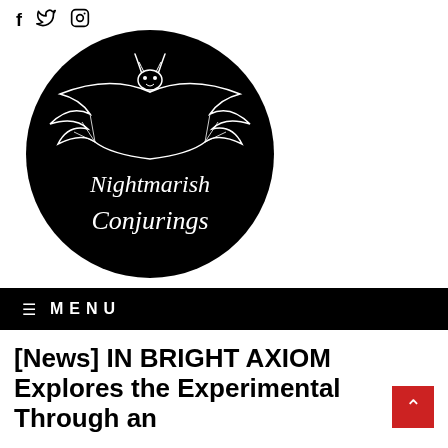f  y  (instagram icon)
[Figure (logo): Nightmarish Conjurings logo: black circle with white stylized bat/dragon creature above cursive text reading 'Nightmarish Conjurings']
≡  MENU
[News] IN BRIGHT AXIOM Explores the Experimental Through an